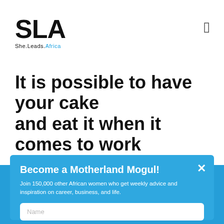[Figure (logo): SLA She.Leads.Africa logo in black with 'Africa' in blue]
It is possible to have your cake and eat it when it comes to work situations
Become a Motherland Mogul!
Join 150,000 other African women who get weekly advice and inspiration on career, business, and life.
Name
Email
Country
YES, I'M IN!